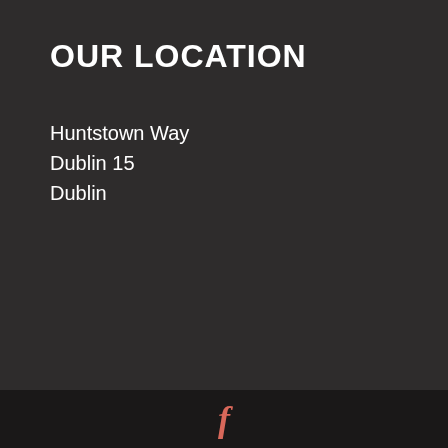OUR LOCATION
Huntstown Way
Dublin 15
Dublin
[Figure (logo): Facebook 'f' icon in salmon/red color on black footer bar]